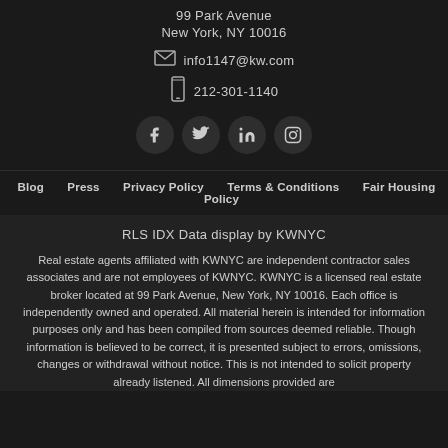99 Park Avenue
New York, NY 10016
info1147@kw.com
212-301-1140
[Figure (illustration): Social media icon buttons: Facebook, Twitter, LinkedIn, Instagram]
Blog   Press   Privacy Policy   Terms & Conditions   Fair Housing Policy
RLS IDX Data display by KWNYC
Real estate agents affiliated with KWNYC are independent contractor sales associates and are not employees of KWNYC. KWNYC is a licensed real estate broker located at 99 Park Avenue, New York, NY 10016. Each office is independently owned and operated. All material herein is intended for information purposes only and has been compiled from sources deemed reliable. Though information is believed to be correct, it is presented subject to errors, omissions, changes or withdrawal without notice. This is not intended to solicit property already listened. All dimensions provided are